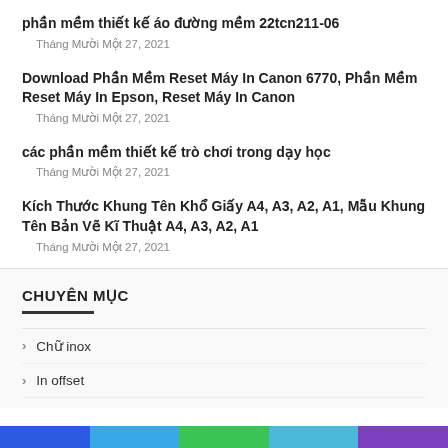phần mềm thiết kế áo đường mềm 22tcn211-06
Tháng Mười Một 27, 2021
Download Phần Mềm Reset Máy In Canon 6770, Phần Mềm Reset Máy In Epson, Reset Máy In Canon
Tháng Mười Một 27, 2021
các phần mềm thiết kế trò chơi trong dạy học
Tháng Mười Một 27, 2021
Kích Thước Khung Tên Khổ Giấy A4, A3, A2, A1, Mẫu Khung Tên Bản Vẽ Kĩ Thuật A4, A3, A2, A1
Tháng Mười Một 27, 2021
CHUYÊN MỤC
Chữ inox
In offset